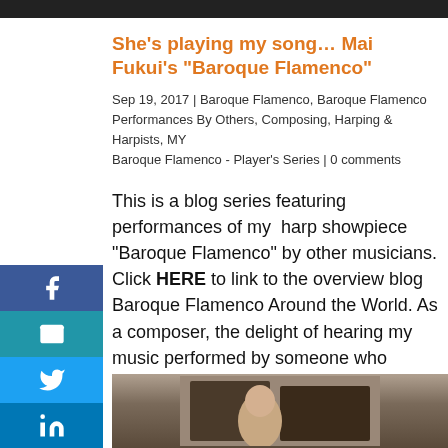[Figure (photo): Dark banner image at top of page]
She’s playing my song… Mai Fukui’s “Baroque Flamenco”
Sep 19, 2017 | Baroque Flamenco, Baroque Flamenco Performances By Others, Composing, Harping & Harpists, MY Baroque Flamenco - Player's Series | 0 comments
This is a blog series featuring performances of my harp showpiece “Baroque Flamenco” by other musicians. Click HERE to link to the overview blog Baroque Flamenco Around the World. As a composer, the delight of hearing my music performed by someone who clearly loves…
[Figure (photo): Photo of a musician at the bottom of the page]